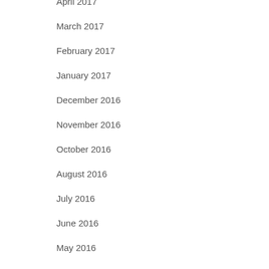April 2017
March 2017
February 2017
January 2017
December 2016
November 2016
October 2016
August 2016
July 2016
June 2016
May 2016
April 2016
March 2016
February 2016
January 2016